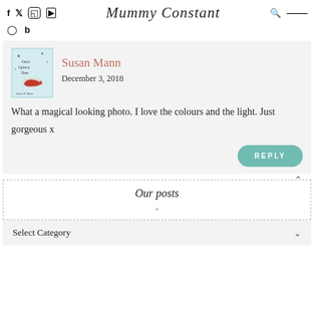Mummy Constant
[Figure (screenshot): Blog comment section from 'Mummy Constant' website showing social media icons, site logo, and a comment by Susan Mann dated December 3, 2018]
Susan Mann
December 3, 2018
What a magical looking photo. I love the colours and the light. Just gorgeous x
Our posts
Select Category